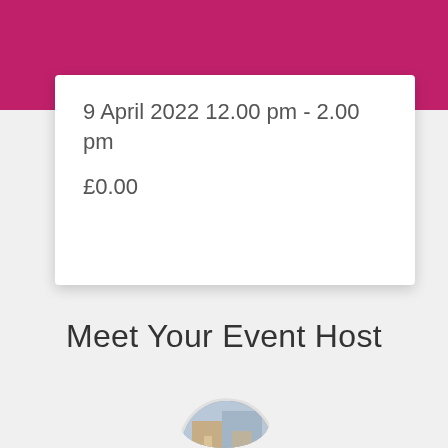9 April 2022 12.00 pm - 2.00 pm
£0.00
Meet Your Event Host
[Figure (photo): Circular profile photo of the event host, partially visible at bottom of page]